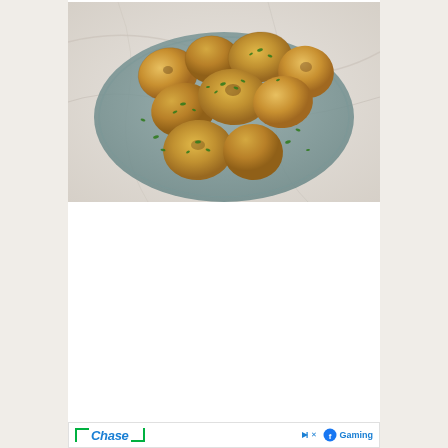[Figure (photo): Roasted baby potatoes garnished with chopped green herbs on a blue-grey oval serving plate, placed on a white marble surface.]
[Figure (other): Advertisement banner featuring Chase bank logo with green bracket corners on the left, and Facebook Gaming logo on the right with play and close icons.]